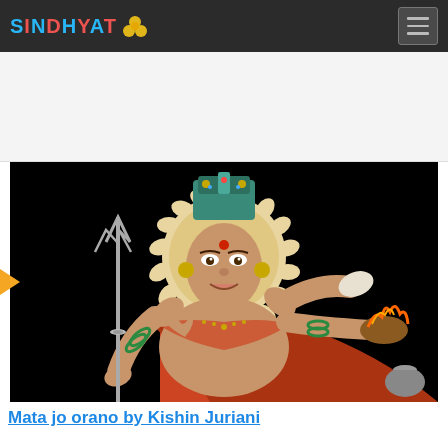SINDHYAT (logo with flower icon) — navigation header with hamburger menu
[Figure (photo): Religious illustration of a Hindu goddess (Mata) with multiple arms, holding a trishul (trident), seated figure with ornate crown/halo and jewelry, wearing red/orange garments, against black background. Colorful traditional Indian devotional art style.]
Mata jo orano by Kishin Juriani